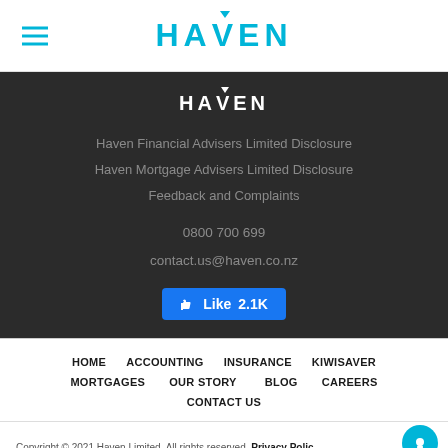HAVEN
[Figure (logo): HAVEN logo in white on dark background]
Haven Financial Advisers Limited Disclosure
Haven Mortgage Advisers Limited Disclosure
Feedback and Complaints
0800 700 699
contact.us@haven.co.nz
[Figure (other): Facebook Like button showing 2.1K likes]
HOME   ACCOUNTING   INSURANCE   KIWISAVER
MORTGAGES   OUR STORY   BLOG   CAREERS
CONTACT US
Copyright © 2021 Haven Limited. All rights reserved. Privacy Policy